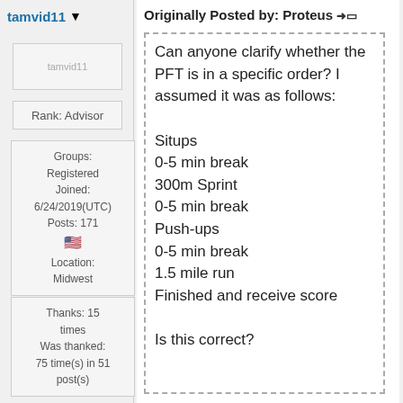tamvid11
[Figure (other): User avatar image placeholder for tamvid11]
Rank: Advisor
Groups: Registered
Joined: 6/24/2019(UTC)
Posts: 171
🇺🇸
Location: Midwest
Thanks: 15 times
Was thanked: 75 time(s) in 51 post(s)
Originally Posted by: Proteus ➜□
Can anyone clarify whether the PFT is in a specific order? I assumed it was as follows:

Situps
0-5 min break
300m Sprint
0-5 min break
Push-ups
0-5 min break
1.5 mile run
Finished and receive score

Is this correct?